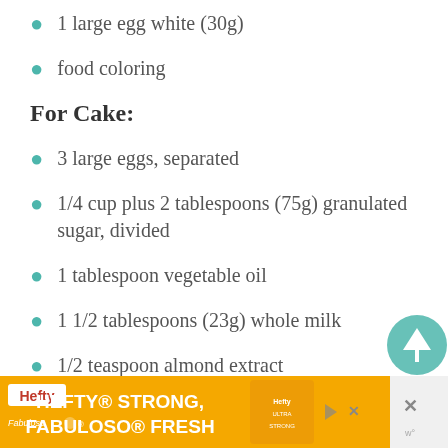1 large egg white (30g)
food coloring
For Cake:
3 large eggs, separated
1/4 cup plus 2 tablespoons (75g) granulated sugar, divided
1 tablespoon vegetable oil
1 1/2 tablespoons (23g) whole milk
1/2 teaspoon almond extract
1/2 teaspoon kosher salt
[Figure (other): Advertisement banner for Hefty Strong, Fabuloso Fresh products]